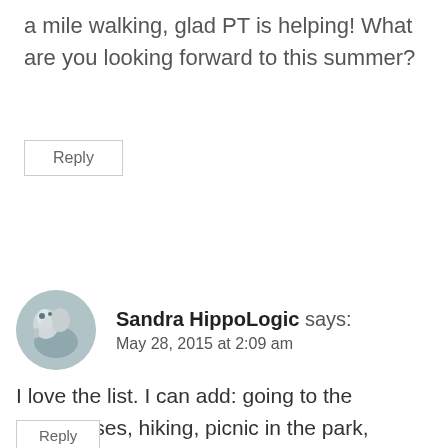a mile walking, glad PT is helping! What are you looking forward to this summer?
Reply
Sandra HippoLogic says:
May 28, 2015 at 2:09 am
I love the list. I can add: going to the barn/horses, hiking, picnic in the park, treasure hunt in garden/park, bake something sweet and delicious.
Reply